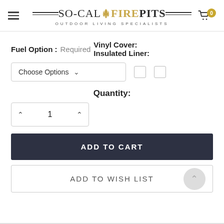[Figure (logo): So-Cal Firepits logo with flame icon and tagline 'OUTDOOR LIVING SPECIALISTS']
Fuel Option : RequiredVinyl Cover:Insulated Liner:
Choose Options (dropdown) with two checkboxes
Quantity:
1 (quantity selector with up/down arrows)
ADD TO CART
ADD TO WISH LIST